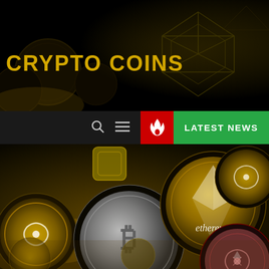[Figure (photo): Dark banner background with cryptocurrency coin imagery and geometric Ethereum logo patterns in dark gold/amber tones]
CRYPTO COINS
[Figure (infographic): Navigation bar with search icon, hamburger menu icon, red fire button icon, and green LATEST NEWS button]
[Figure (photo): Close-up photo of multiple cryptocurrency physical coins including Bitcoin, Ethereum, and Ripple/XRP coins in gold and silver tones scattered together]